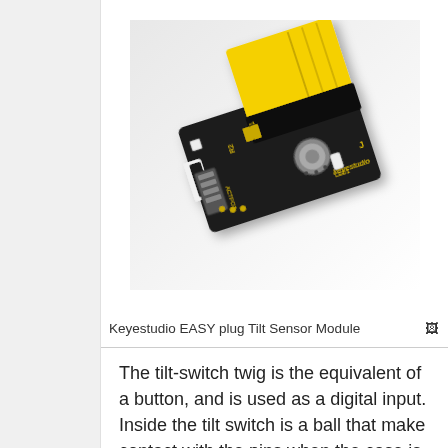[Figure (photo): Keyestudio EASY plug Tilt Sensor Module — a black PCB with yellow top housing, tilt sensor component, LED, resistors R1 and R2, and keyestudio branding in yellow text.]
Keyestudio EASY plug Tilt Sensor Module
The tilt-switch twig is the equivalent of a button, and is used as a digital input. Inside the tilt switch is a ball that make contact with the pins when the case is upright. Tilt the case over and the balls don't touch, thus not making a connection. When the switch is level it is open, and when tilted, the switch closes.